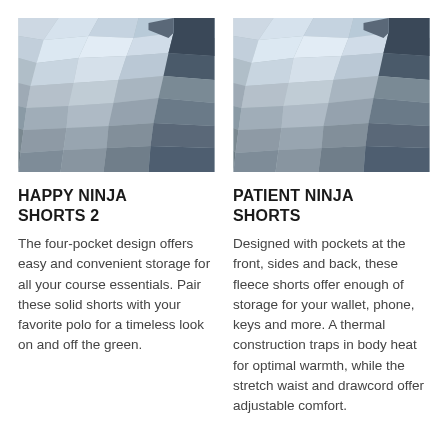[Figure (illustration): Low-poly geometric pattern image in blue and grey tones representing product image for Happy Ninja Shorts 2]
HAPPY NINJA SHORTS 2
The four-pocket design offers easy and convenient storage for all your course essentials. Pair these solid shorts with your favorite polo for a timeless look on and off the green.
[Figure (illustration): Low-poly geometric pattern image in blue and grey tones representing product image for Patient Ninja Shorts]
PATIENT NINJA SHORTS
Designed with pockets at the front, sides and back, these fleece shorts offer enough of storage for your wallet, phone, keys and more. A thermal construction traps in body heat for optimal warmth, while the stretch waist and drawcord offer adjustable comfort.